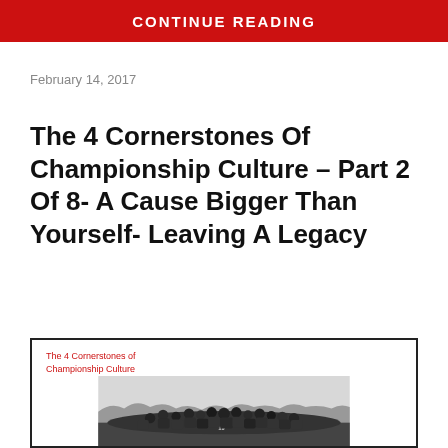CONTINUE READING
February 14, 2017
The 4 Cornerstones Of Championship Culture – Part 2 Of 8- A Cause Bigger Than Yourself- Leaving A Legacy
[Figure (photo): Book cover showing 'The 4 Cornerstones of Championship Culture' text in red over a black-and-white photograph of a sports team huddled together outdoors]